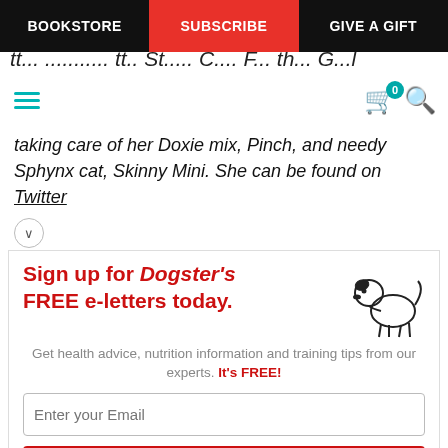BOOKSTORE | SUBSCRIBE | GIVE A GIFT
taking care of her Doxie mix, Pinch, and needy Sphynx cat, Skinny Mini. She can be found on Twitter
[Figure (infographic): Sign up for Dogster's FREE e-letters today promotional banner with cartoon dog illustration, email input field, and YES! SIGN ME UP button]